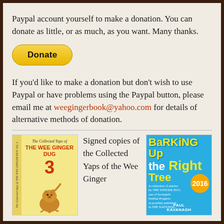Paypal account yourself to make a donation. You can donate as little, or as much, as you want. Many thanks.
[Figure (other): PayPal Donate button — yellow rounded rectangle with bold text 'Donate']
If you'd like to make a donation but don't wish to use Paypal or have problems using the Paypal button, please email me at weegingerbook@yahoo.com for details of alternative methods of donation.
[Figure (illustration): Book cover: 'The Collected Yaps of THE WEE GINGER DUG 3' with dog illustration on yellow background]
Signed copies of the Collected Yaps of the Wee Ginger
[Figure (illustration): Book cover: 'Barking Up the Right Tree 2016' by Paul Kavanagh, blue background with yellow and white text]